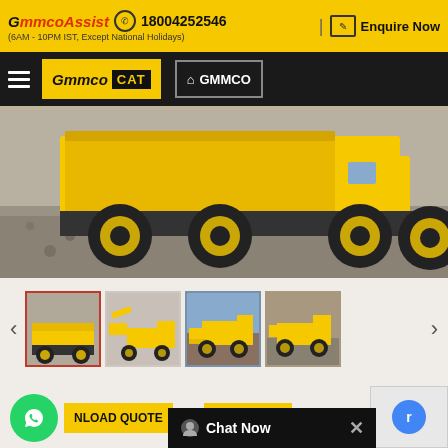GmmcoAssist 18004252546 | Enquire Now (6AM - 10PM IST, Except National Holidays)
[Figure (screenshot): GMMCO CAT navigation bar with hamburger menu, Gmmco CAT logo, and GMMCO home button]
[Figure (photo): Large yellow CAT construction machinery/truck loader at a gravel/aggregate site]
[Figure (photo): Thumbnail strip with 4 images of CAT 424 Backhoe Loader from different angles, first image active/selected with red border]
424 BACKHOE LOADER (2WD AND 4WD)
DOWNLOAD QUOTE  OR  ADD TO WISHLIST
Chat Now